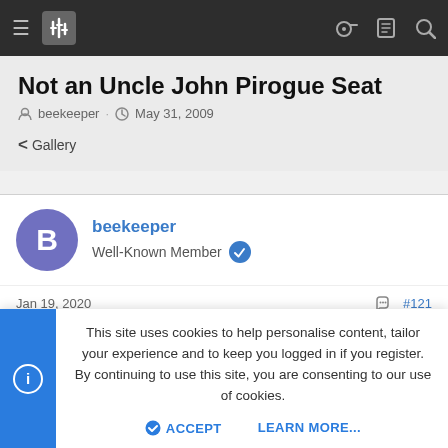Navigation bar with menu, logo, key, list, and search icons
Not an Uncle John Pirogue Seat
beekeeper · May 31, 2009
< Gallery
beekeeper
Well-Known Member
Jan 19, 2020
#121
Broke the handle out of my Dad's hammer. I bought a new handle but
This site uses cookies to help personalise content, tailor your experience and to keep you logged in if you register.
By continuing to use this site, you are consenting to our use of cookies.
ACCEPT
LEARN MORE...